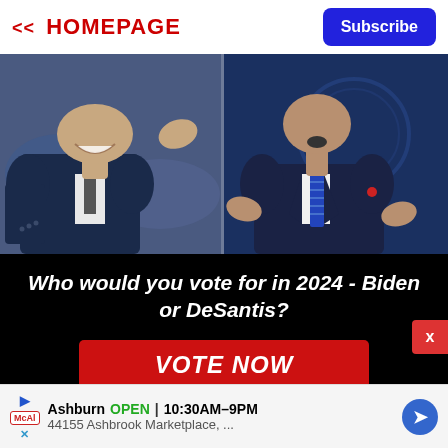<< HOMEPAGE
Subscribe
[Figure (photo): Split photo of two politicians in suits, left person smiling in dark navy suit, right person speaking with blue striped tie against blue background]
Who would you vote for in 2024 - Biden or DeSantis?
VOTE NOW
x
Ashburn OPEN 10:30AM–9PM 44155 Ashbrook Marketplace, ...